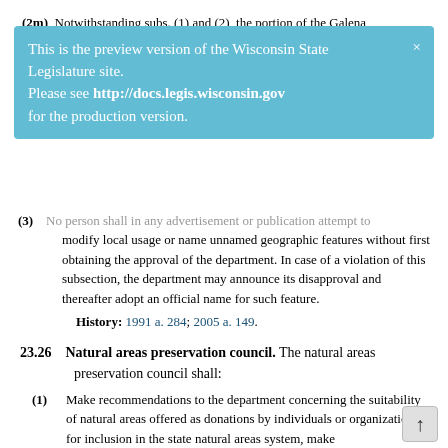(2m) Notwithstanding subs. (1) and (2), the portion of the Galena
[Figure (screenshot): Preview banner: 'This is the preview version of the Wisconsin State Legislature site. Please see http://docs.legis.wisconsin.gov for the production version.' with close X button in light blue background.]
(3) No person shall in any advertisement or publication attempt to modify local usage or name unnamed geographic features without first obtaining the approval of the department. In case of a violation of this subsection, the department may announce its disapproval and thereafter adopt an official name for such feature.
History: 1991 a. 284; 2005 a. 149.
23.26 Natural areas preservation council.
The natural areas preservation council shall:
(1) Make recommendations to the department concerning the suitability of natural areas offered as donations by individuals or organizations for inclusion in the state natural areas system, make recommendations to the department concerning the purchase of natural areas to be included in the state natural areas system and make recommendations concerning the suitability of natural areas offered as dedications by individuals or organizations for inclusion in the state natural areas system.
(2) Make recommendations to appropriate federal agencies or